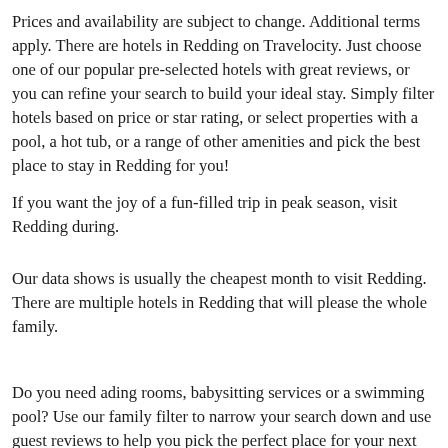Prices and availability are subject to change. Additional terms apply. There are hotels in Redding on Travelocity. Just choose one of our popular pre-selected hotels with great reviews, or you can refine your search to build your ideal stay. Simply filter hotels based on price or star rating, or select properties with a pool, a hot tub, or a range of other amenities and pick the best place to stay in Redding for you!
If you want the joy of a fun-filled trip in peak season, visit Redding during.
Our data shows is usually the cheapest month to visit Redding. There are multiple hotels in Redding that will please the whole family.
Do you need ading rooms, babysitting services or a swimming pool? Use our family filter to narrow your search down and use guest reviews to help you pick the perfect place for your next family trip to Redding. We have plenty of kid-friendly hotels in Redding to choose from on Travelocity! Because we have the top hotels in Redding!